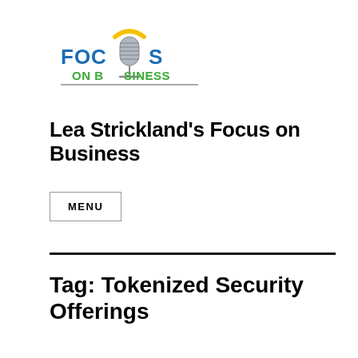[Figure (logo): Focus On Business podcast logo with microphone icon. Text reads FOCUS ON BUSINESS in blue and green letters with a vintage microphone in the center replacing the letter O in FOCUS.]
Lea Strickland's Focus on Business
MENU
Tag: Tokenized Security Offerings